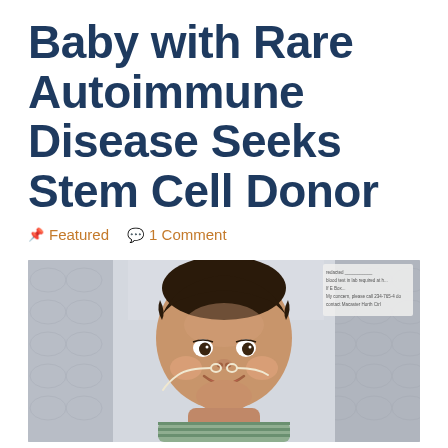Baby with Rare Autoimmune Disease Seeks Stem Cell Donor
📌 Featured   💬 1 Comment
[Figure (photo): Smiling baby with nasal cannula lying in a gray patterned infant lounger, wearing a green striped onesie. A hospital label is partially visible in the top right corner of the photo.]